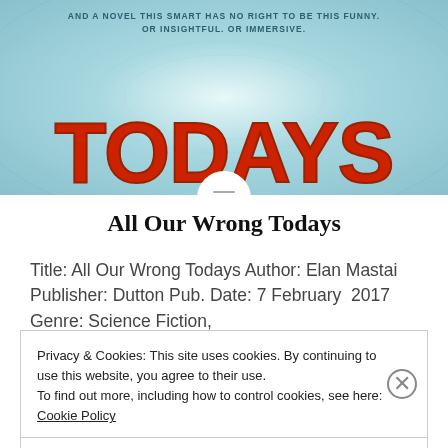[Figure (photo): Book cover of 'All Our Wrong Todays' showing large red bold title text 'TODAYS' on a teal/blue swirling background, with tagline text above reading 'AND A NOVEL THIS SMART HAS NO RIGHT TO BE THIS FUNNY. OR INSIGHTFUL. OR IMMERSIVE.']
All Our Wrong Todays
Title: All Our Wrong Todays Author: Elan Mastai Publisher: Dutton Pub. Date: 7 February 2017 Genre: Science Fiction,
Privacy & Cookies: This site uses cookies. By continuing to use this website, you agree to their use. To find out more, including how to control cookies, see here: Cookie Policy
Close and accept